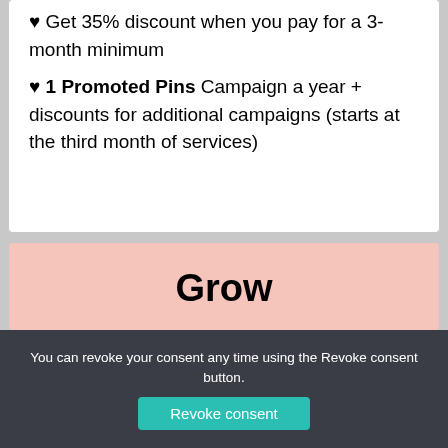♥ Get 35% discount when you pay for a 3-month minimum
♥ 1 Promoted Pins Campaign a year + discounts for additional campaigns (starts at the third month of services)
Grow
Best for bloggers, creators and businesses who produce new content and/or products
You can revoke your consent any time using the Revoke consent button.